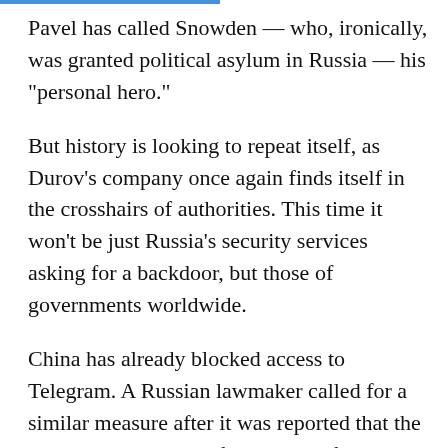Pavel has called Snowden — who, ironically, was granted political asylum in Russia — his "personal hero."
But history is looking to repeat itself, as Durov's company once again finds itself in the crosshairs of authorities. This time it won't be just Russia's security services asking for a backdoor, but those of governments worldwide.
China has already blocked access to Telegram. A Russian lawmaker called for a similar measure after it was reported that the terrorists responsible for a series of coordinated attacks in Paris last year used Telegram to communicate. Telegram's public